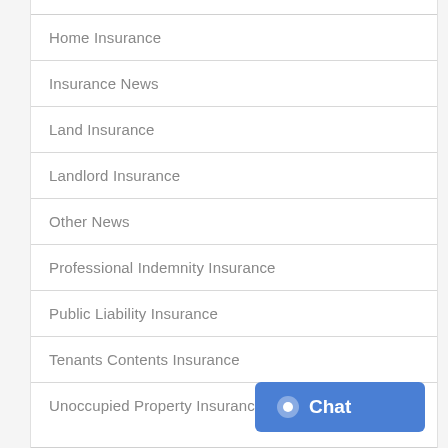Home Insurance
Insurance News
Land Insurance
Landlord Insurance
Other News
Professional Indemnity Insurance
Public Liability Insurance
Tenants Contents Insurance
Unoccupied Property Insurance